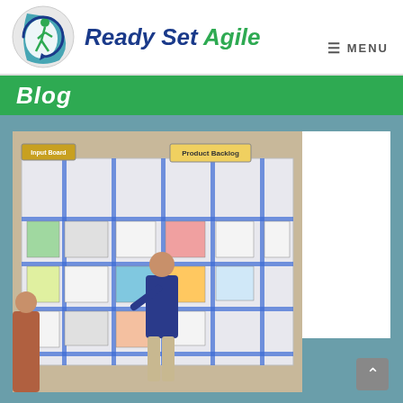[Figure (logo): Ready Set Agile logo with circular icon showing a running figure and the text 'Ready Set Agile' in bold italic blue and green]
≡  MENU
Blog
[Figure (photo): Photo of two people standing in front of a large whiteboard covered with sticky notes and blue tape forming a kanban/scrum board. A sign reads 'Product Backlog' at the top.]